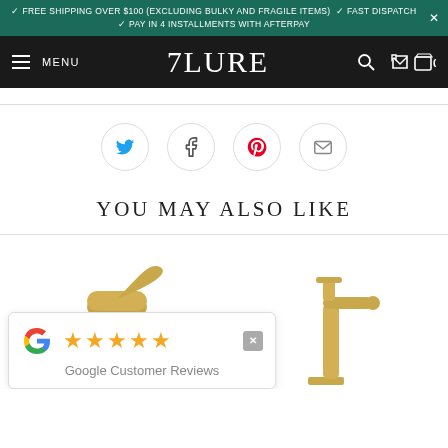✓ FREE SHIPPING OVER $100 (EXCLUDING BULKY AND FRAGILE ITEMS) ✓ FAST DISPATCH ✓ PAY IN 4 INSTALLMENTS WITH AFTERPAY
MENU | ZURE | Search | Cart 0
[Figure (screenshot): Four social sharing icons in circles: Twitter (blue bird), Facebook (f), Pinterest (red p), Email (envelope)]
YOU MAY ALSO LIKE
[Figure (photo): Two gold/brushed brass basin faucets on white background. Left faucet is cropped. A Google Customer Reviews popup overlay shows 5 stars rating.]